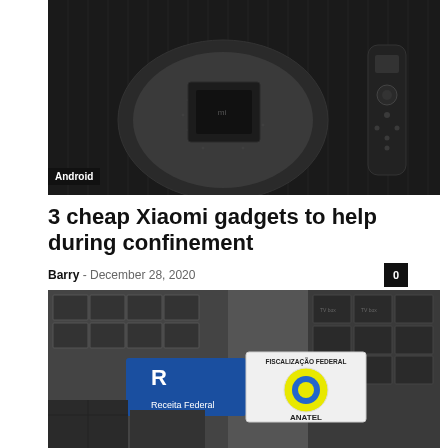[Figure (photo): Dark product photo of a Xiaomi Mi Box / Android TV device on a round speaker base with a remote control on the right side, against a dark ribbed background]
Android
3 cheap Xiaomi gadgets to help during confinement
Barry - December 28, 2020
[Figure (photo): Warehouse shelves filled with TV Box devices with a blue Receita Federal sign and a round Fiscalização Federal ANATEL sign placed in front]